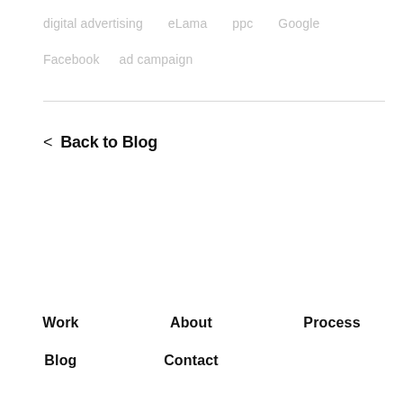digital advertising   eLama   ppc   Google
Facebook   ad campaign
‹ Back to Blog
Work   About   Process   Blog   Contact